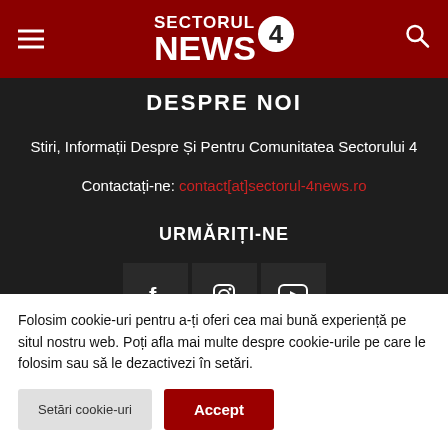Sectorul 4 NEWS - header navigation bar
DESPRE NOI
Stiri, Informații Despre Și Pentru Comunitatea Sectorului 4
Contactați-ne: contact[at]sectorul-4news.ro
URMĂRIȚI-NE
[Figure (infographic): Three social media icon buttons: Facebook (f), Instagram, YouTube]
Folosim cookie-uri pentru a-ți oferi cea mai bună experiență pe situl nostru web. Poți afla mai multe despre cookie-urile pe care le folosim sau să le dezactivezi în setări.
Setări cookie-uri  Accept